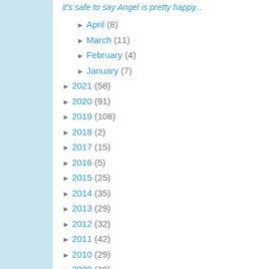it's safe to say Angel is pretty happy...
► April (8)
► March (11)
► February (4)
► January (7)
► 2021 (58)
► 2020 (91)
► 2019 (108)
► 2018 (2)
► 2017 (15)
► 2016 (5)
► 2015 (25)
► 2014 (35)
► 2013 (29)
► 2012 (32)
► 2011 (42)
► 2010 (29)
► 2009 (19)
► 2008 (9)